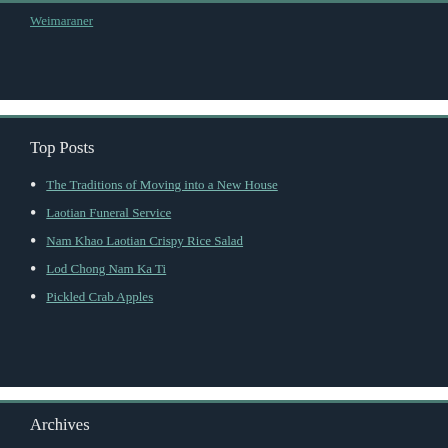Weimaraner
Top Posts
The Traditions of Moving into a New House
Laotian Funeral Service
Nam Khao Laotian Crispy Rice Salad
Lod Chong Nam Ka Ti
Pickled Crab Apples
Archives